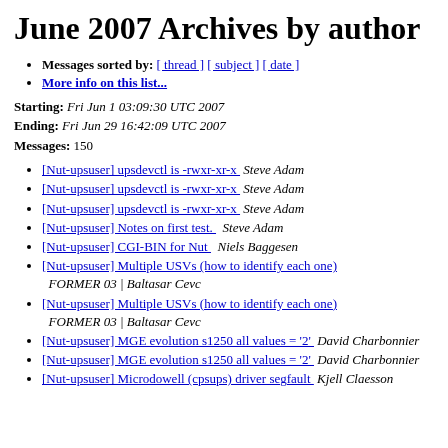June 2007 Archives by author
Messages sorted by: [ thread ] [ subject ] [ date ]
More info on this list...
Starting: Fri Jun 1 03:09:30 UTC 2007
Ending: Fri Jun 29 16:42:09 UTC 2007
Messages: 150
[Nut-upsuser] upsdevctl is -rwxr-xr-x  Steve Adam
[Nut-upsuser] upsdevctl is -rwxr-xr-x  Steve Adam
[Nut-upsuser] upsdevctl is -rwxr-xr-x  Steve Adam
[Nut-upsuser] Notes on first test.  Steve Adam
[Nut-upsuser] CGI-BIN for Nut  Niels Baggesen
[Nut-upsuser] Multiple USVs (how to identify each one)  FORMER 03 | Baltasar Cevc
[Nut-upsuser] Multiple USVs (how to identify each one)  FORMER 03 | Baltasar Cevc
[Nut-upsuser] MGE evolution s1250 all values = '2'  David Charbonnier
[Nut-upsuser] MGE evolution s1250 all values = '2'  David Charbonnier
[Nut-upsuser] Microdowell (cpsups) driver segfault  Kjell Claesson